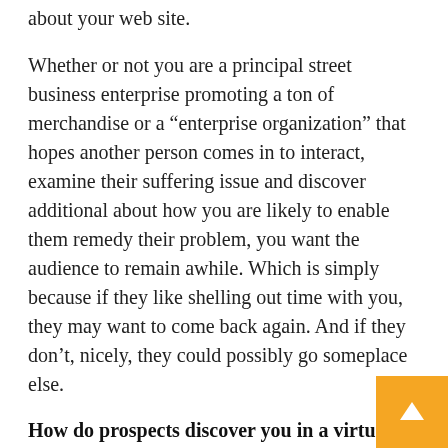about your web site.
Whether or not you are a principal street business enterprise promoting a ton of merchandise or a “enterprise organization” that hopes another person comes in to interact, examine their suffering issue and discover additional about how you are likely to enable them remedy their problem, you want the audience to remain awhile. Which is simply because if they like shelling out time with you, they may want to come back again. And if they don’t, nicely, they could possibly go someplace else.
How do prospects discover you in a virtual earth?
Just like in the actual entire world, there are a lot of various methods to make your existence even bigger. Website positioning might aid with ser estate. Upping your lookup engine optimization